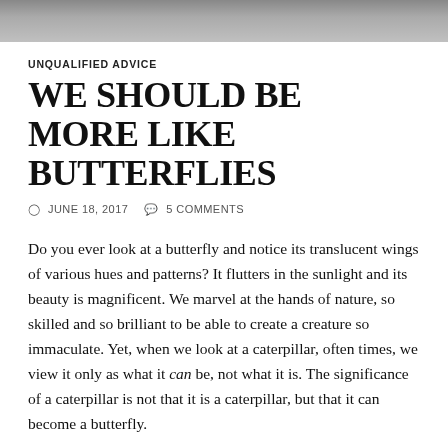[Figure (photo): Top portion of a photograph showing a person, cropped — only the bottom of a face/head visible as a dark strip at the top of the page.]
UNQUALIFIED ADVICE
WE SHOULD BE MORE LIKE BUTTERFLIES
JUNE 18, 2017   5 COMMENTS
Do you ever look at a butterfly and notice its translucent wings of various hues and patterns? It flutters in the sunlight and its beauty is magnificent. We marvel at the hands of nature, so skilled and so brilliant to be able to create a creature so immaculate. Yet, when we look at a caterpillar, often times, we view it only as what it can be, not what it is. The significance of a caterpillar is not that it is a caterpillar, but that it can become a butterfly.
Such a creature is characterized most of all by its evolution, which is the epitome of profound reinvention. A caterpillar's